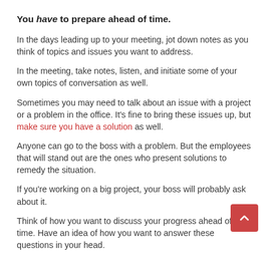You have to prepare ahead of time.
In the days leading up to your meeting, jot down notes as you think of topics and issues you want to address.
In the meeting, take notes, listen, and initiate some of your own topics of conversation as well.
Sometimes you may need to talk about an issue with a project or a problem in the office. It's fine to bring these issues up, but make sure you have a solution as well.
Anyone can go to the boss with a problem. But the employees that will stand out are the ones who present solutions to remedy the situation.
If you're working on a big project, your boss will probably ask about it.
Think of how you want to discuss your progress ahead of time. Have an idea of how you want to answer these questions in your head.